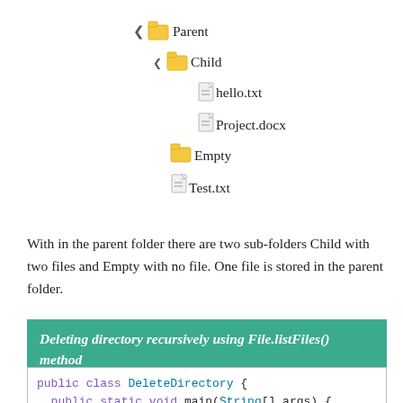[Figure (other): File system tree showing Parent folder with Child subfolder (containing hello.txt and Project.docx), Empty subfolder, and Test.txt file]
With in the parent folder there are two sub-folders Child with two files and Empty with no file. One file is stored in the parent folder.
Deleting directory recursively using File.listFiles() method
public class DeleteDirectory {
  public static void main(String[] args) {
    // Source folder
    final String SOURCE_DIR = "D://example{D...